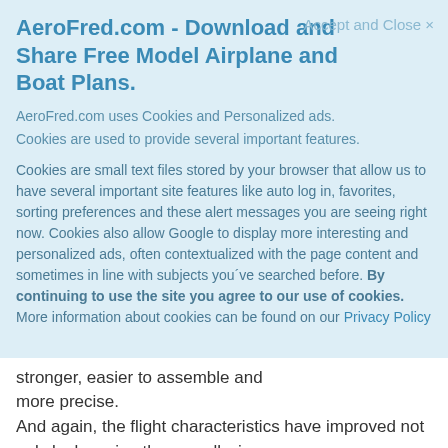AeroFred.com - Download and Share Free Model Airplane and Boat Plans.
Accept and Close ×
AeroFred.com uses Cookies and Personalized ads.
Cookies are used to provide several important features.
Cookies are small text files stored by your browser that allow us to have several important site features like auto log in, favorites, sorting preferences and these alert messages you are seeing right now. Cookies also allow Google to display more interesting and personalized ads, often contextualized with the page content and sometimes in line with subjects you've searched before. By continuing to use the site you agree to our use of cookies. More information about cookies can be found on our Privacy Policy
stronger, easier to assemble and more precise.
And again, the flight characteristics have improved not only by lowering the overall wing
loading, but also by better weight distribution, and improved aerodynamics. Large control
surfaces with allows for performing extreme 3D maneuvers, while precision and symmetry
of the wing profile predetermines this RC model plane to flying